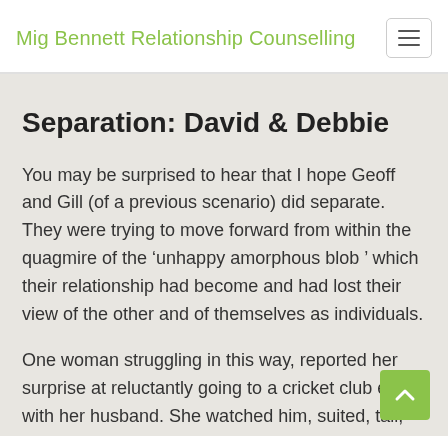Mig Bennett Relationship Counselling
Separation: David & Debbie
You may be surprised to hear that I hope Geoff and Gill (of a previous scenario) did separate. They were trying to move forward from within the quagmire of the ‘unhappy amorphous blob’ which their relationship had become and had lost their view of the other and of themselves as individuals.
One woman struggling in this way, reported her surprise at reluctantly going to a cricket club event with her husband. She watched him, suited, tall, elegant as he talked to a group of people .... and suddenly all the feelings of desire she had lost